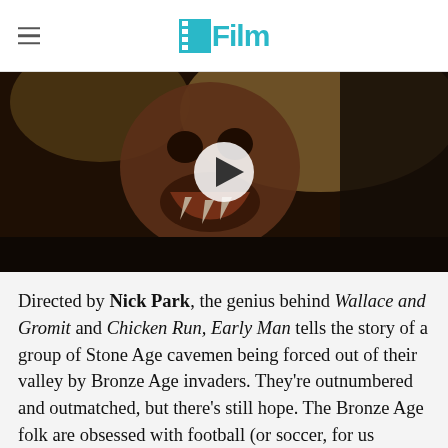/Film
[Figure (screenshot): Video thumbnail showing a close-up of a creature from the Early Man film with a play button overlay]
Directed by Nick Park, the genius behind Wallace and Gromit and Chicken Run, Early Man tells the story of a group of Stone Age cavemen being forced out of their valley by Bronze Age invaders. They're outnumbered and outmatched, but there's still hope. The Bronze Age folk are obsessed with football (or soccer, for us Americans), and so a